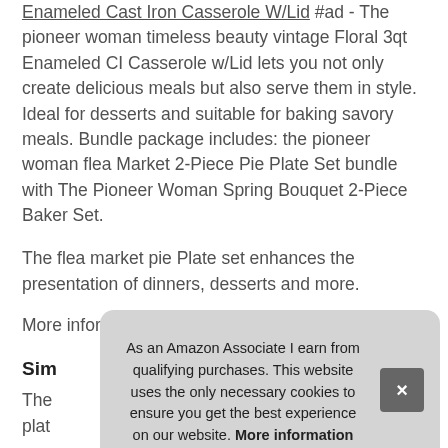Enameled Cast Iron Casserole W/Lid #ad - The pioneer woman timeless beauty vintage Floral 3qt Enameled CI Casserole w/Lid lets you not only create delicious meals but also serve them in style. Ideal for desserts and suitable for baking savory meals. Bundle package includes: the pioneer woman flea Market 2-Piece Pie Plate Set bundle with The Pioneer Woman Spring Bouquet 2-Piece Baker Set.
The flea market pie Plate set enhances the presentation of dinners, desserts and more.
More information about The Pioneer Womans #ad
Sim
The [partial] plat[partial]
The Pioneer Woman Flea Market Bouquet 2 Ruffle Top S[partial]
As an Amazon Associate I earn from qualifying purchases. This website uses the only necessary cookies to ensure you get the best experience on our website. More information